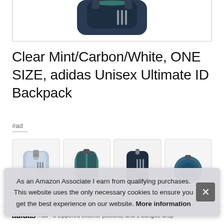[Figure (photo): Top portion of a dark navy adidas backpack product photo, cropped at top of page]
Clear Mint/Carbon/White, ONE SIZE, adidas Unisex Ultimate ID Backpack
#ad
[Figure (photo): Row of four thumbnail product images showing adidas backpacks from different angles and colorways]
As an Amazon Associate I earn from qualifying purchases. This website uses the only necessary cookies to ensure you get the best experience on our website. More information
adidas #ad - 3 zippered exterior pockets, and 1 bungee drop